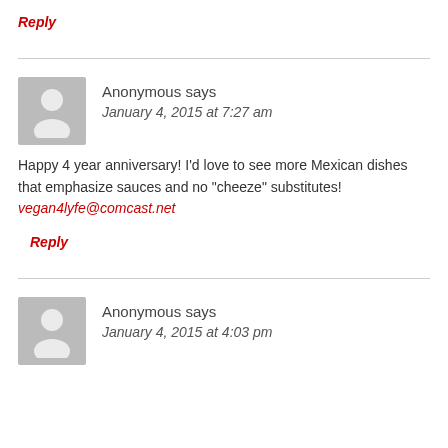Reply
Anonymous says
January 4, 2015 at 7:27 am
Happy 4 year anniversary! I'd love to see more Mexican dishes that emphasize sauces and no "cheeze" substitutes!
vegan4lyfe@comcast.net
Reply
Anonymous says
January 4, 2015 at 4:03 pm